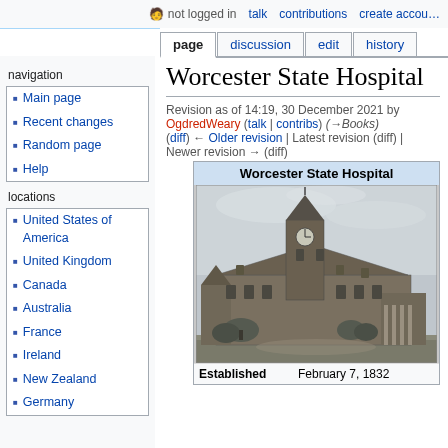not logged in  talk  contributions  create account
page  discussion  edit  history
Worcester State Hospital
Revision as of 14:19, 30 December 2021 by OgdredWeary (talk | contribs) (→Books) (diff) ← Older revision | Latest revision (diff) | Newer revision → (diff)
navigation
Main page
Recent changes
Random page
Help
locations
United States of America
United Kingdom
Canada
Australia
France
Ireland
New Zealand
Germany
[Figure (photo): Black and white historical photograph of Worcester State Hospital building showing a large Victorian-era stone building with a prominent clock tower]
| Established | February 7, 1832 |
| --- | --- |